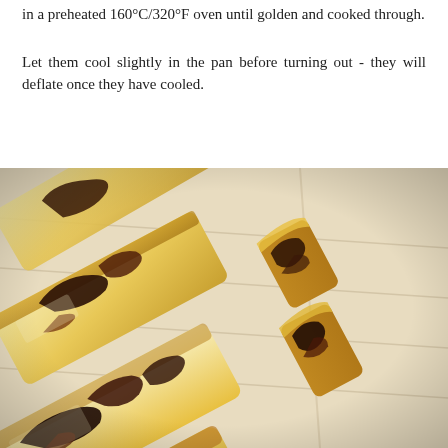in a preheated 160°C/320°F oven until golden and cooked through.
Let them cool slightly in the pan before turning out - they will deflate once they have cooled.
[Figure (photo): Close-up photograph of golden baked bar cakes/financiers with dark jam or berry filling swirled through them, cooling on a wire rack. The cakes are rectangular, golden-yellow with purple-brown fruit filling visible.]